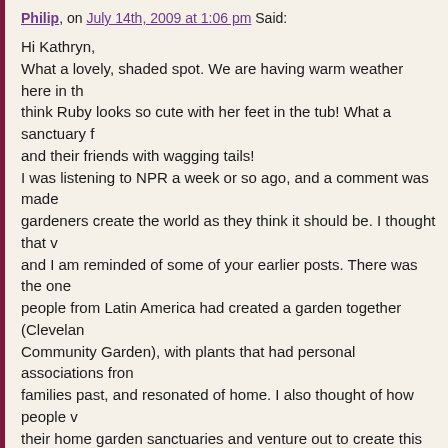Philip, on July 14th, 2009 at 1:06 pm Said:
Hi Kathryn,
What a lovely, shaded spot. We are having warm weather here in th... think Ruby looks so cute with her feet in the tub! What a sanctuary f... and their friends with wagging tails!
I was listening to NPR a week or so ago, and a comment was made... gardeners create the world as they think it should be. I thought that v... and I am reminded of some of your earlier posts. There was the one... people from Latin America had created a garden together (Cleveland... Community Garden), with plants that had personal associations fron... families past, and resonated of home. I also thought of how people v... their home garden sanctuaries and venture out to create this feeling... sanctuary in the wider world; either planting trees or picking up tras... invasive weeds in creeks, or as you did by having crape myrtles plar... retirement home.
I think that a place with growing things, happy glazed pots and anim... play is the perfect template for a better world.
😊
Philip